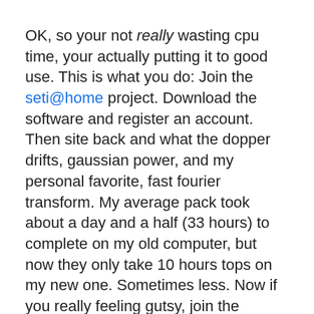OK, so your not really wasting cpu time, your actually putting it to good use. This is what you do: Join the seti@home project. Download the software and register an account. Then site back and what the dopper drifts, gaussian power, and my personal favorite, fast fourier transform. My average pack took about a day and a half (33 hours) to complete on my old computer, but now they only take 10 hours tops on my new one. Sometimes less. Now if you really feeling gutsy, join the “fergcorp.com seti@home” group project. With our power combined, we may not make Captain Planet, but we just might get ET. Which brings me to another point, is the movie E.T.: The Extra Terrestrial being redundant. Becuase E.T. means Extra Terrestrial, so basicly it’s saying Extra Terrestrial: The Extra Terrestrial. Anyways, let’s go find him. Or the Klingons, which brings me to yet another joke. But I’ll save